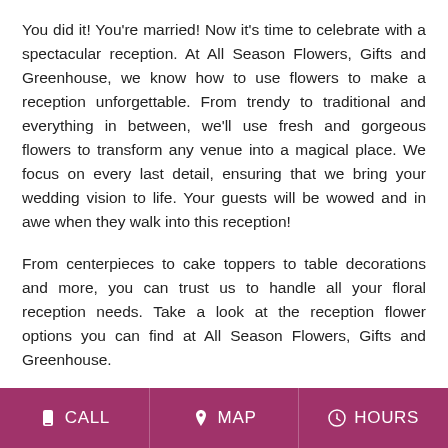You did it! You're married! Now it's time to celebrate with a spectacular reception. At All Season Flowers, Gifts and Greenhouse, we know how to use flowers to make a reception unforgettable. From trendy to traditional and everything in between, we'll use fresh and gorgeous flowers to transform any venue into a magical place. We focus on every last detail, ensuring that we bring your wedding vision to life. Your guests will be wowed and in awe when they walk into this reception!
From centerpieces to cake toppers to table decorations and more, you can trust us to handle all your floral reception needs. Take a look at the reception flower options you can find at All Season Flowers, Gifts and Greenhouse.
Centerpieces
CALL  MAP  HOURS